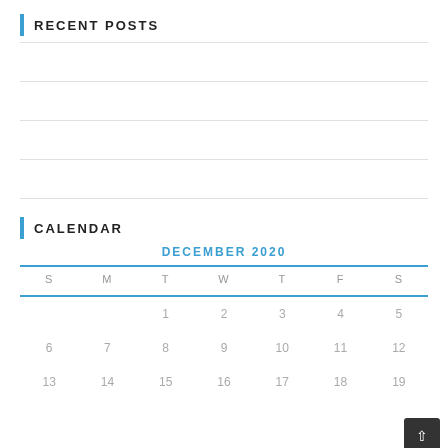RECENT POSTS
| S | M | T | W | T | F | S |
| --- | --- | --- | --- | --- | --- | --- |
|  |  | 1 | 2 | 3 | 4 | 5 |
| 6 | 7 | 8 | 9 | 10 | 11 | 12 |
| 13 | 14 | 15 | 16 | 17 | 18 | 19 |
CALENDAR